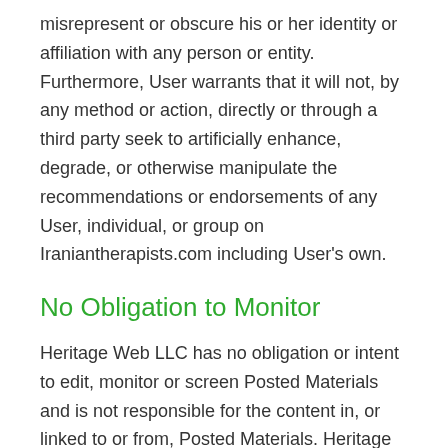misrepresent or obscure his or her identity or affiliation with any person or entity. Furthermore, User warrants that it will not, by any method or action, directly or through a third party seek to artificially enhance, degrade, or otherwise manipulate the recommendations or endorsements of any User, individual, or group on Iraniantherapists.com including User's own.
No Obligation to Monitor
Heritage Web LLC has no obligation or intent to edit, monitor or screen Posted Materials and is not responsible for the content in, or linked to or from, Posted Materials. Heritage Web LLC may, and retains the right to, examine Iraniantherapists.com for adherence to the Agreement and remove any materials